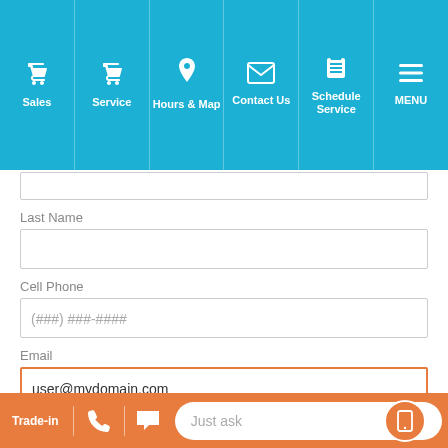Sales | Service | Hours & Map | Contact Us | Schedule Service | MENU
Last Name
Cell Phone
(###) ###-####
Email
user@mydomain.com
Vehicle Status
Select One
Trade-in | Just ask